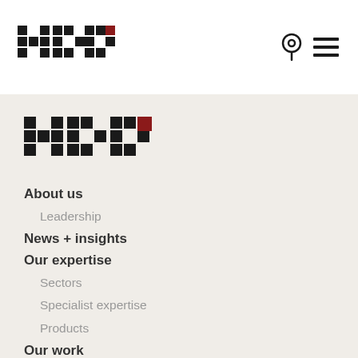[Figure (logo): HKK pixel/checkerboard logo in top white header bar, dark squares with red accent square]
[Figure (other): Location pin icon in top right navigation area]
[Figure (other): Hamburger menu icon (three horizontal lines) in top right navigation area]
[Figure (logo): HKK pixel/checkerboard logo larger version in beige footer area with red accent square]
About us
Leadership
News + insights
Our expertise
Sectors
Specialist expertise
Products
Our work